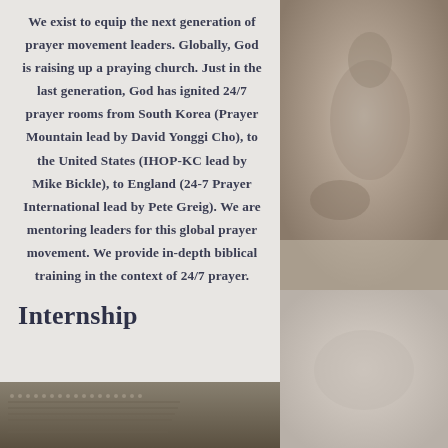We exist to equip the next generation of prayer movement leaders. Globally, God is raising up a praying church. Just in the last generation, God has ignited 24/7 prayer rooms from South Korea (Prayer Mountain lead by David Yonggi Cho), to the United States (IHOP-KC lead by Mike Bickle), to England (24-7 Prayer International lead by Pete Greig). We are mentoring leaders for this global prayer movement. We provide in-depth biblical training in the context of 24/7 prayer.
Internship
[Figure (photo): Partial photo at bottom of page showing a person, blurred]
[Figure (photo): Blurred photo on right side of page showing a person sitting]